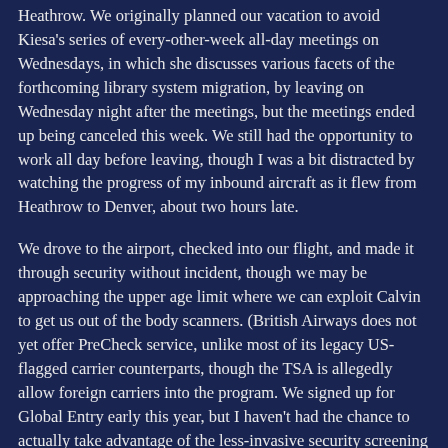Heathrow. We originally planned our vacation to avoid Kiesa's series of every-other-week all-day meetings on Wednesdays, in which she discusses various facets of the forthcoming library system migration, by leaving on Wednesday night after the meetings, but the meetings ended up being canceled this week. We still had the opportunity to work all day before leaving, though I was a bit distracted by watching the progress of my inbound aircraft as it flew from Heathrow to Denver, about two hours late.
We drove to the airport, checked into our flight, and made it through security without incident, though we may be approaching the upper age limit where we can exploit Calvin to get us out of the body scanners. (British Airways does not yet offer PreCheck service, unlike most of its legacy US-flagged carrier counterparts, though the TSA is allegedly allow foreign carriers into the program. We signed up for Global Entry early this year, but I haven't had the chance to actually take advantage of the less-invasive security screening provided by PreCheck, or the expedited Global Entry immigration lane. The first time Kiesa flew with PreCheck was to visit Detroit for her user's group conference, and she thought it was fantastic.)
We ate supper at the airport and waited, at length, for our plane to arrive. I found a seat with a front-row view of the nose of the plane when it eventually arrived. We ended up in the small-child